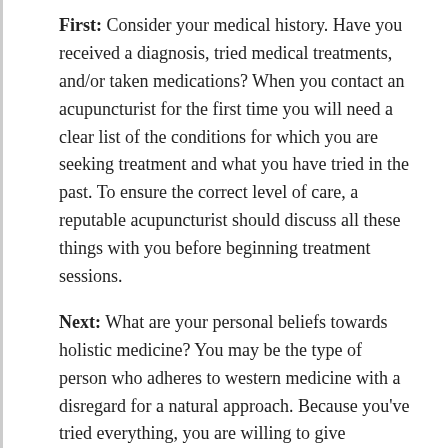First: Consider your medical history. Have you received a diagnosis, tried medical treatments, and/or taken medications? When you contact an acupuncturist for the first time you will need a clear list of the conditions for which you are seeking treatment and what you have tried in the past. To ensure the correct level of care, a reputable acupuncturist should discuss all these things with you before beginning treatment sessions.
Next: What are your personal beliefs towards holistic medicine? You may be the type of person who adheres to western medicine with a disregard for a natural approach. Because you've tried everything, you are willing to give acupuncture a shot. You should seek out an acupuncturist who has a more medically-based practice. These acupuncturists do not dismiss the value of modern medicine and will provide a more formal atmosphere for you to receive treatment. If you lead a more holistic